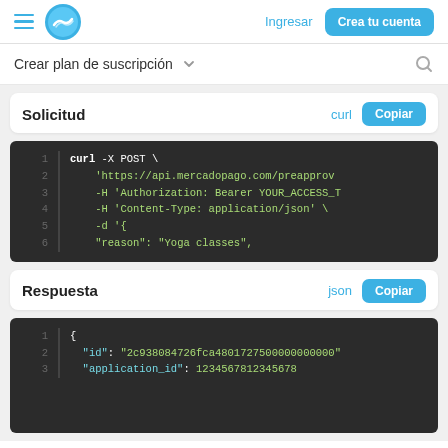Hamburger menu | MercadoPago logo | Ingresar | Crea tu cuenta
Crear plan de suscripción
Solicitud
[Figure (screenshot): Dark code block showing curl POST request to api.mercadopago.com/preapproval with Authorization Bearer and Content-Type headers, with -d body starting with reason: Yoga classes]
Respuesta
[Figure (screenshot): Dark code block showing JSON response with id: 2c938084726fca4801727500000000000 and application_id: 1234567812345678]